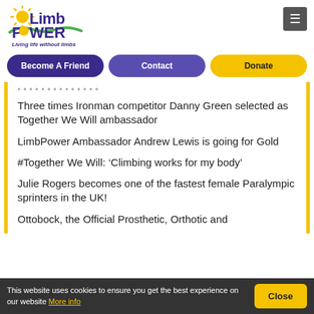[Figure (logo): LimbPower logo with sun/wave graphic and tagline 'Living life without limbs']
Become A Friend | Contact | Donate
Three times Ironman competitor Danny Green selected as Together We Will ambassador
LimbPower Ambassador Andrew Lewis is going for Gold
#Together We Will: ‘Climbing works for my body’
Julie Rogers becomes one of the fastest female Paralympic sprinters in the UK!
Ottobock, the Official Prosthetic, Orthotic and
This website uses cookies to ensure you get the best experience on our website More info  Close